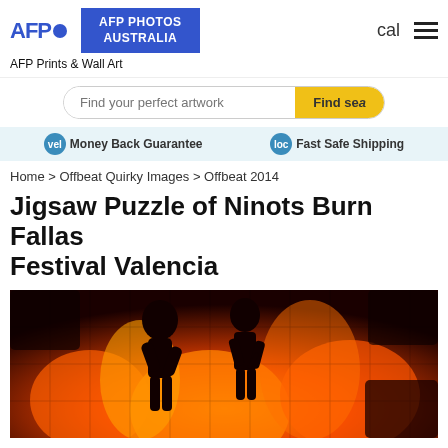AFP Photos Australia — AFP Prints & Wall Art
Find your perfect artwork
vel Money Back Guarantee   loc Fast Safe Shipping
Home > Offbeat Quirky Images > Offbeat 2014
Jigsaw Puzzle of Ninots Burn Fallas Festival Valencia
[Figure (photo): Jigsaw puzzle image of dark silhouetted ninot figures against a vivid orange and red fire background, with jigsaw puzzle cut lines visible across the image.]